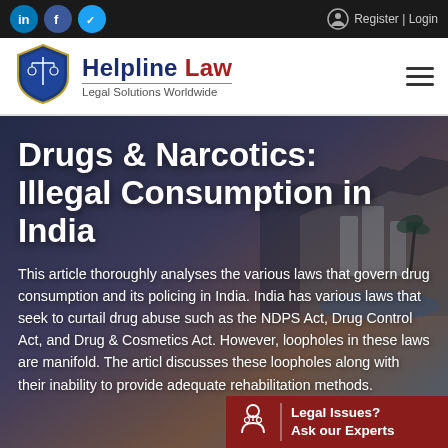LinkedIn | Facebook | Twitter | Register | Login
[Figure (logo): Helpline Law shield logo with scales of justice]
Helpline Law — Legal Solutions Worldwide
Drugs & Narcotics: Illegal Consumption in India
This article thoroughly analyses the various laws that govern drug consumption and its policing in India. India has various laws that seek to curtail drug abuse such as the NDPS Act, Drug Control Act, and Drug & Cosmetics Act. However, loopholes in these laws are manifold. The articl discusses these loopholes along with their inability to provide adequate rehabilitation methods.
Legal Issues? Ask our Experts